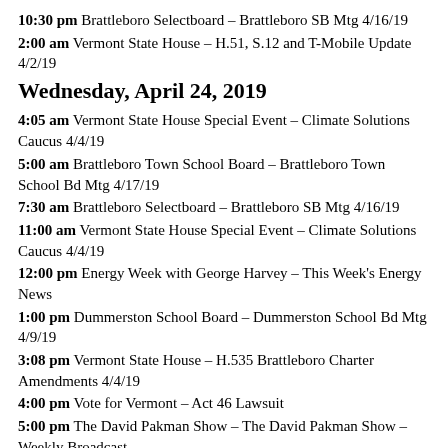10:30 pm Brattleboro Selectboard – Brattleboro SB Mtg 4/16/19
2:00 am Vermont State House – H.51, S.12 and T-Mobile Update 4/2/19
Wednesday, April 24, 2019
4:05 am Vermont State House Special Event – Climate Solutions Caucus 4/4/19
5:00 am Brattleboro Town School Board – Brattleboro Town School Bd Mtg 4/17/19
7:30 am Brattleboro Selectboard – Brattleboro SB Mtg 4/16/19
11:00 am Vermont State House Special Event – Climate Solutions Caucus 4/4/19
12:00 pm Energy Week with George Harvey – This Week's Energy News
1:00 pm Dummerston School Board – Dummerston School Bd Mtg 4/9/19
3:08 pm Vermont State House – H.535 Brattleboro Charter Amendments 4/4/19
4:00 pm Vote for Vermont – Act 46 Lawsuit
5:00 pm The David Pakman Show – The David Pakman Show – Weekly Broadcast